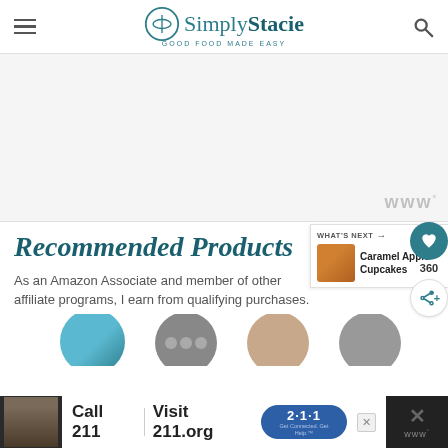Simply Stacie — Good Food Made Easy
[Figure (screenshot): Advertisement banner placeholder with Mediavine watermark]
Recommended Products
As an Amazon Associate and member of other affiliate programs, I earn from qualifying purchases.
[Figure (screenshot): What's Next callout showing Caramel Apple Cupcakes with thumbnail]
[Figure (screenshot): Product images strip showing circular product thumbnails]
[Figure (screenshot): Bottom advertisement banner: Call 211 | Visit 211.org with 2-1-1 badge]